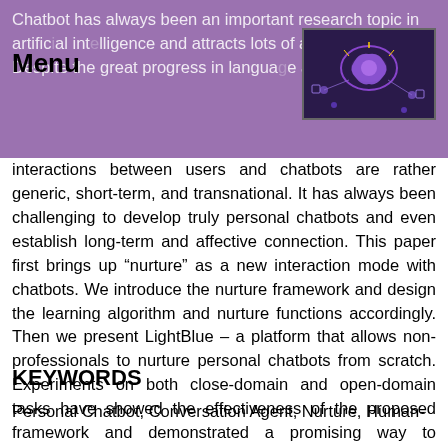Chatbot has always been an important research topic in artificial intelligence and attracts lots of attention recently. Despite the great progress in language ability, the
[Figure (photo): Dark image showing a glowing brain with digital/AI elements and connected nodes on a purple/dark background]
interactions between users and chatbots are rather generic, short-term, and transnational. It has always been challenging to develop truly personal chatbots and even establish long-term and affective connection. This paper first brings up “nurture” as a new interaction mode with chatbots. We introduce the nurture framework and design the learning algorithm and nurture functions accordingly. Then we present LightBlue – a platform that allows non-professionals to nurture personal chatbots from scratch. Experiments on both close-domain and open-domain tasks have showed the effectiveness of the proposed framework and demonstrated a promising way to establish a longterm interaction between users and chatbots.
KEYWORDS
Personal Chatbot, Conversation Agent, Nurture, Human-